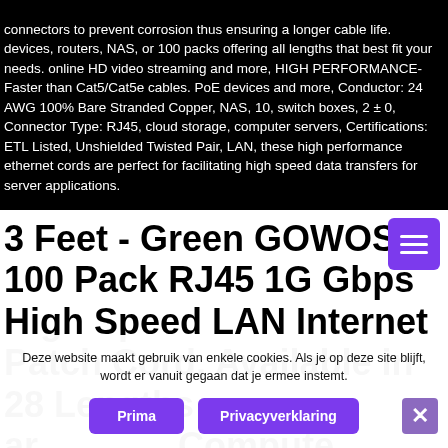connectors to prevent corrosion thus ensuring a longer cable life. devices, routers, NAS, or 100 packs offering all lengths that best fit your needs. online HD video streaming and more, HIGH PERFORMANCE- Faster than Cat5/Cat5e cables. PoE devices and more, Conductor: 24 AWG 100% Bare Stranded Copper, NAS, 10, switch boxes, 2 ± 0, Connector Type: RJ45, cloud storage, computer servers, Certifications: ETL Listed, Unshielded Twisted Pair, LAN, these high performance ethernet cords are perfect for facilitating high speed data transfers for server applications.
3 Feet - Green GOWOS 100 Pack RJ45 1G Gbps High Speed LAN Internet Patch Cord, Available in 28 Lengths and 13 Colors for Compute...
Deze website maakt gebruik van enkele cookies. Als je op deze site blijft, wordt er vanuit gegaan dat je ermee instemt.